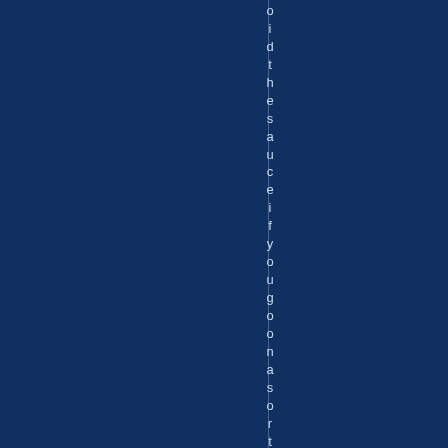[Figure (other): Dark navy blue background page with a vertical thin white/light line and vertically stacked text reading 'o i d t h e s a u c e i f y o u g o o n a s o r t o f j o l' in light blue-gray letters arranged one character per line]